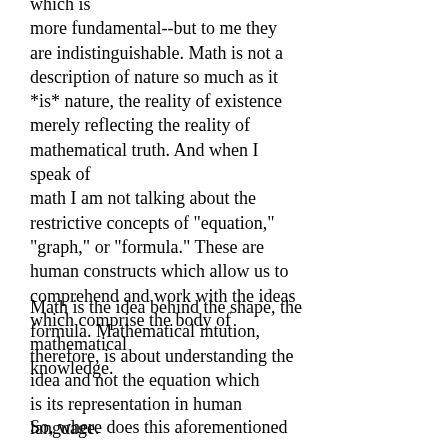which is more fundamental--but to me they are indistinguishable. Math is not a description of nature so much as it *is* nature, the reality of existence merely reflecting the reality of mathematical truth. And when I speak of math I am not talking about the restrictive concepts of "equation," "graph," or "formula." These are human constructs which allow us to comprehend and work with the ideas which comprise the body of mathematical knowledge.
Math is the idea behind the shape, the formula. Mathematical intution, therefore, is about understanding the idea and not the equation which is its representation in human language.
So, where does this aforementioned